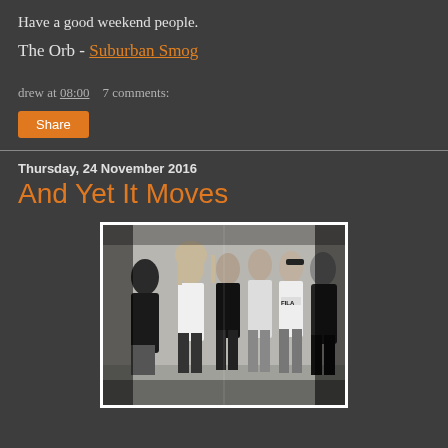Have a good weekend people.
The Orb - Suburban Smog
drew at 08:00    7 comments:
Share
Thursday, 24 November 2016
And Yet It Moves
[Figure (photo): Black and white photo of a group of people standing against a wall, one person wearing a FILA hoodie]